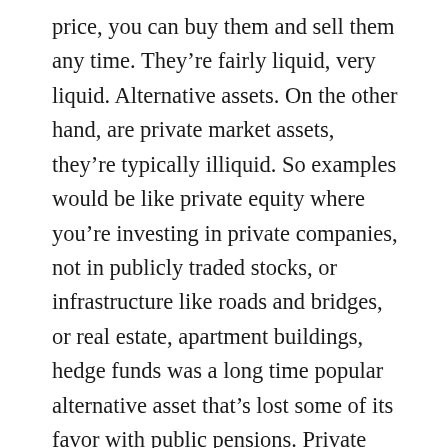price, you can buy them and sell them any time. They're fairly liquid, very liquid. Alternative assets. On the other hand, are private market assets, they're typically illiquid. So examples would be like private equity where you're investing in private companies, not in publicly traded stocks, or infrastructure like roads and bridges, or real estate, apartment buildings, hedge funds was a long time popular alternative asset that's lost some of its favor with public pensions. Private credit is one that's gaining steam. That's private loans to companies. Not bonds that are traded on the public markets, but private loans.